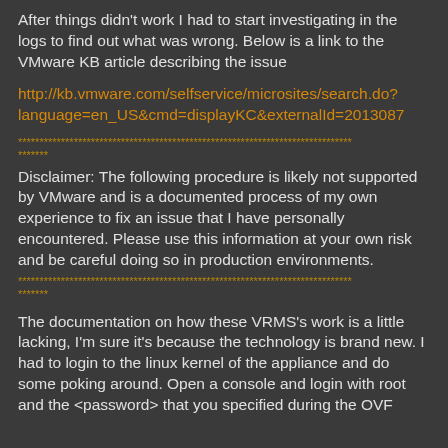After things didn't work I had to start investigating in the logs to find out what was wrong. Below is a link to the VMware KB article describing the issue
http://kb.vmware.com/selfservice/microsites/search.do?language=en_US&cmd=displayKC&externalId=2013087
******************************************************************************
*******
Disclaimer: The following procedure is likely not supported by VMware and is a documented process of my own experience to fix an issue that I have personally encountered. Please use this information at your own risk and be careful doing so in production environments.
******************************************************************************
*******
The documentation on how these VRMS's work is a little lacking, I'm sure it's because the technology is brand new. I had to login to the linux kernel of the appliance and do some poking around. Open a console and login with root and the <password> that you specified during the OVF